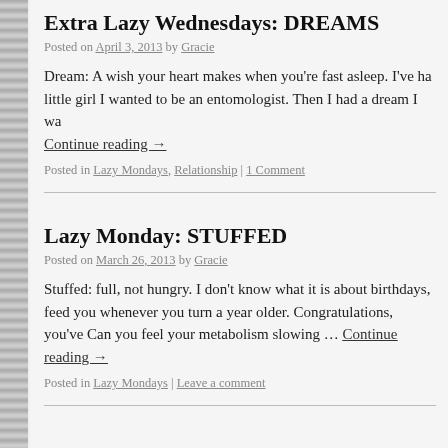Extra Lazy Wednesdays: DREAMS
Posted on April 3, 2013 by Gracie
Dream: A wish your heart makes when you're fast asleep. I've ha little girl I wanted to be an entomologist. Then I had a dream I wa
Continue reading →
Posted in Lazy Mondays, Relationship | 1 Comment
Lazy Monday: STUFFED
Posted on March 26, 2013 by Gracie
Stuffed: full, not hungry. I don't know what it is about birthdays, feed you whenever you turn a year older. Congratulations, you've Can you feel your metabolism slowing … Continue reading →
Posted in Lazy Mondays | Leave a comment